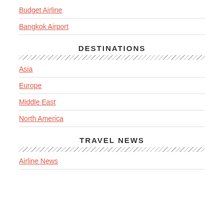Budget Airline
Bangkok Airport
DESTINATIONS
Asia
Europe
Middle East
North America
TRAVEL NEWS
Airline News